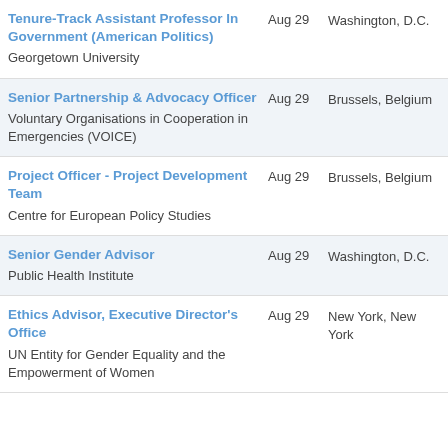Tenure-Track Assistant Professor In Government (American Politics) | Georgetown University | Aug 29 | Washington, D.C.
Senior Partnership & Advocacy Officer | Voluntary Organisations in Cooperation in Emergencies (VOICE) | Aug 29 | Brussels, Belgium
Project Officer - Project Development Team | Centre for European Policy Studies | Aug 29 | Brussels, Belgium
Senior Gender Advisor | Public Health Institute | Aug 29 | Washington, D.C.
Ethics Advisor, Executive Director's Office | UN Entity for Gender Equality and the Empowerment of Women | Aug 29 | New York, New York